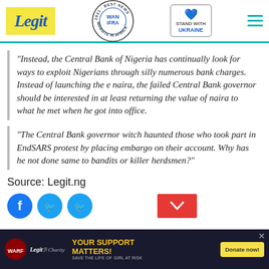Legit — WAN IFRA 2021 Best News Website in Africa — Stand with Ukraine
"Instead, the Central Bank of Nigeria has continually look for ways to exploit Nigerians through silly numerous bank charges. Instead of launching the e naira, the failed Central Bank governor should be interested in at least returning the value of naira to what he met when he got into office.
"The Central Bank governor witch haunted those who took part in EndSARS protest by placing embargo on their account. Why has he not done same to bandits or killer herdsmen?"
Source: Legit.ng
[Figure (screenshot): Ad banner: Legit Charity — Your Support Matters! Save the Life of Girl at Risk — Donate now button]
YOUR SUPPORT MATTERS! SAVE THE LIFE OF GIRL AT RISK — Donate now!